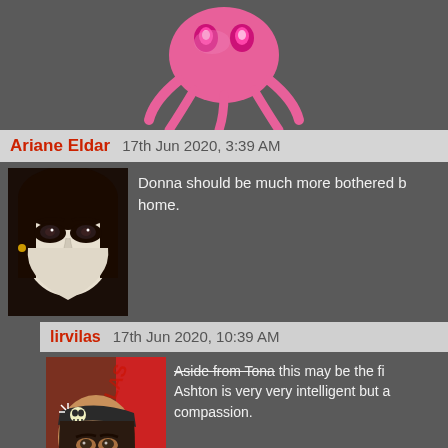[Figure (illustration): Pink octopus logo with glowing eyes, partially cropped at top]
Ariane Eldar   17th Jun 2020, 3:39 AM
Donna should be much more bothered by... home.
[Figure (illustration): Gothic woman with heavy eye makeup, pale skin, red lips - avatar for Ariane Eldar]
lirvilas   17th Jun 2020, 10:39 AM
Aside from Tona this may be the fi... Ashton is very very intelligent but a... compassion.
[Figure (illustration): Cartoon pirate character with skull and crossbones bandana - avatar for lirvilas]
gazingrhino   17th Jun 2020, 9:53 AM
Dr. Ashton don't need one, she already...